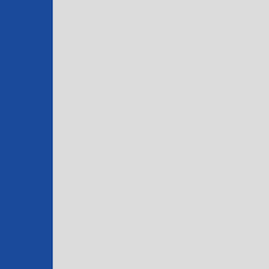into the states and into the economy, they will raise utility bills for Americans, available supply of fossil fuels, a struggle and manufacturers may regulations. Thirdly, even if clima focused on adaptation.
Liberals, independents and moderates outweighed by the job gains in w of billions, if not trillions of dollars and massive losses of quality of massive. Sometimes regulations engineers and scientists who ca skilled manufacturing workers w Moreover, the threat to national s drag.
American tax payers could actua could get rebates that more than corporate, income and payroll ta John McCain once worked on su